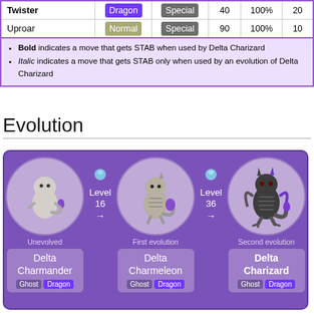| Move | Type | Category | Power | Accuracy | PP |
| --- | --- | --- | --- | --- | --- |
| Twister | Dragon | Special | 40 | 100% | 20 |
| Uproar | Normal | Special | 90 | 100% | 10 |
Bold indicates a move that gets STAB when used by Delta Charizard
Italic indicates a move that gets STAB only when used by an evolution of Delta Charizard
Evolution
[Figure (infographic): Evolution chain showing Delta Charmander (Ghost/Dragon, Unevolved) -> Level 16 -> Delta Charmeleon (Ghost/Dragon, First evolution) -> Level 36 -> Delta Charizard (Ghost/Dragon, Second evolution)]